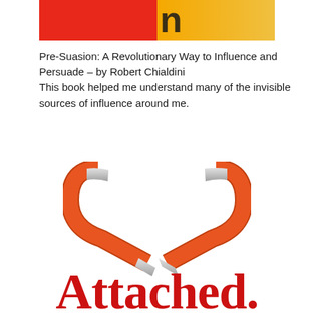[Figure (illustration): Partial book cover with red and orange/yellow gradient background and partial text visible at top]
Pre-Suasion: A Revolutionary Way to Influence and Persuade – by Robert Chialdini
This book helped me understand many of the invisible sources of influence around me.
[Figure (illustration): Two orange horseshoe magnets arranged to form a heart shape with silver metallic tips pointing toward each other]
Attached.